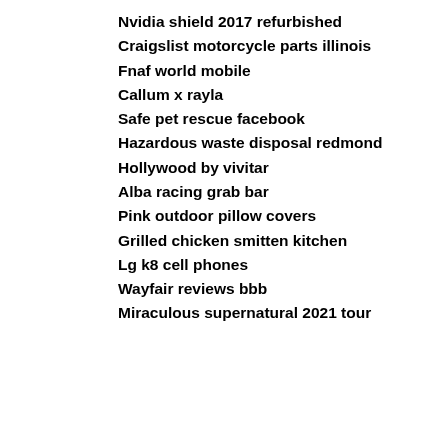Nvidia shield 2017 refurbished
Craigslist motorcycle parts illinois
Fnaf world mobile
Callum x rayla
Safe pet rescue facebook
Hazardous waste disposal redmond
Hollywood by vivitar
Alba racing grab bar
Pink outdoor pillow covers
Grilled chicken smitten kitchen
Lg k8 cell phones
Wayfair reviews bbb
Miraculous supernatural 2021 tour